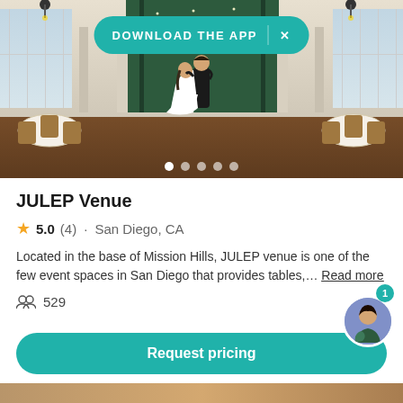[Figure (photo): Wedding venue interior showing couple dancing, with white-draped tables and chairs, wooden floors, and a floral backdrop. A 'Download the App' teal banner is overlaid at the top.]
JULEP Venue
5.0 (4) · San Diego, CA
Located in the base of Mission Hills, JULEP venue is one of the few event spaces in San Diego that provides tables,… Read more
529
Request pricing